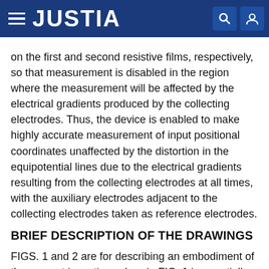JUSTIA
on the first and second resistive films, respectively, so that measurement is disabled in the region where the measurement will be affected by the electrical gradients produced by the collecting electrodes. Thus, the device is enabled to make highly accurate measurement of input positional coordinates unaffected by the distortion in the equipotential lines due to the electrical gradients resulting from the collecting electrodes at all times, with the auxiliary electrodes adjacent to the collecting electrodes taken as reference electrodes.
BRIEF DESCRIPTION OF THE DRAWINGS
FIGS. 1 and 2 are for describing an embodiment of the present invention, wherein FIG. 1 is a partially cutaway plan view showing construction of the important portion of a coordinate input device and FIG. 2 is a sectional view